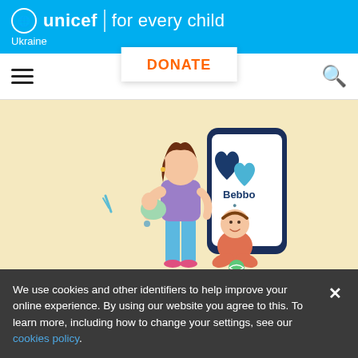unicef | for every child
Ukraine
[Figure (screenshot): UNICEF Ukraine website screenshot showing navigation bar with hamburger menu, DONATE button, and search icon]
[Figure (illustration): Illustration of a mother holding a baby with a large smartphone showing the Bebbo app logo (two hearts), and a toddler sitting on the ground with a toy ball. Light yellow/cream background with decorative elements.]
©UNICEF
We use cookies and other identifiers to help improve your online experience. By using our website you agree to this. To learn more, including how to change your settings, see our cookies policy.